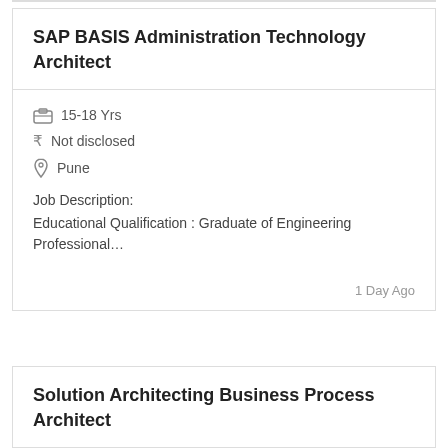SAP BASIS Administration Technology Architect
15-18 Yrs
₹ Not disclosed
Pune
Job Description:
Educational Qualification : Graduate of Engineering Professional…
1 Day Ago
Solution Architecting Business Process Architect